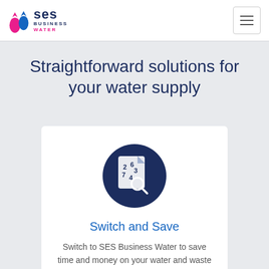SES Business Water
Straightforward solutions for your water supply
[Figure (illustration): Dark navy blue circular icon containing a document/spreadsheet with numbers 2, 6, 3, 7, 4 and a magnifying glass]
Switch and Save
Switch to SES Business Water to save time and money on your water and waste water.